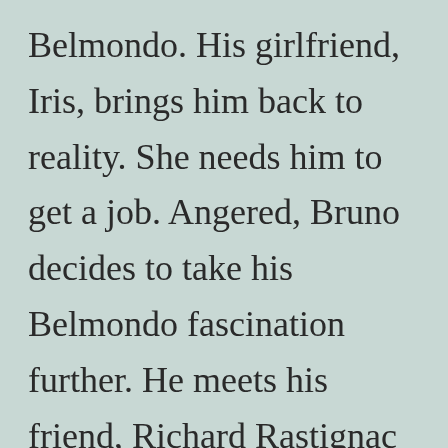Belmondo. His girlfriend, Iris, brings him back to reality. She needs him to get a job. Angered, Bruno decides to take his Belmondo fascination further. He meets his friend, Richard Rastignac (who will appear in a later film), and is given a gun and told to go rob a